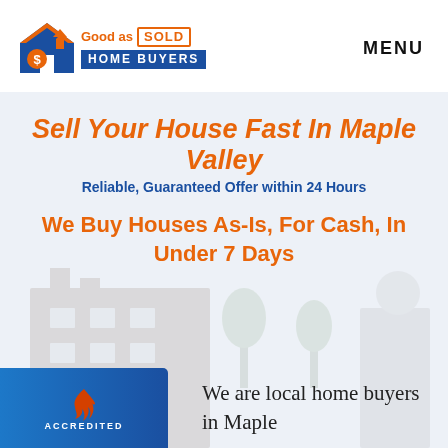[Figure (logo): Good as Sold Home Buyers logo with house icon]
MENU
Sell Your House Fast In Maple Valley
Reliable, Guaranteed Offer within 24 Hours
We Buy Houses As-Is, For Cash, In Under 7 Days
[Figure (logo): BBB Accredited badge]
We are local home buyers in Maple